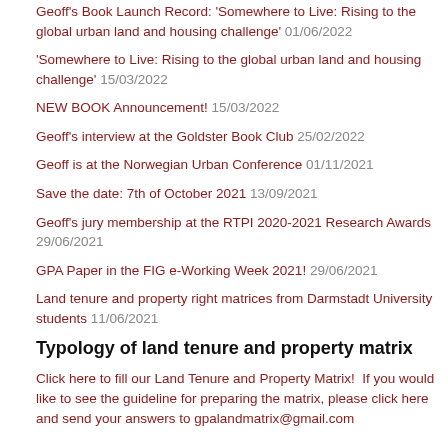Geoff's Book Launch Record: 'Somewhere to Live: Rising to the global urban land and housing challenge' 01/06/2022
'Somewhere to Live: Rising to the global urban land and housing challenge' 15/03/2022
NEW BOOK Announcement! 15/03/2022
Geoff's interview at the Goldster Book Club 25/02/2022
Geoff is at the Norwegian Urban Conference 01/11/2021
Save the date: 7th of October 2021 13/09/2021
Geoff's jury membership at the RTPI 2020-2021 Research Awards 29/06/2021
GPA Paper in the FIG e-Working Week 2021! 29/06/2021
Land tenure and property right matrices from Darmstadt University students 11/06/2021
Typology of land tenure and property matrix
Click here to fill our Land Tenure and Property Matrix!  If you would like to see the guideline for preparing the matrix, please click here and send your answers to gpalandmatrix@gmail.com